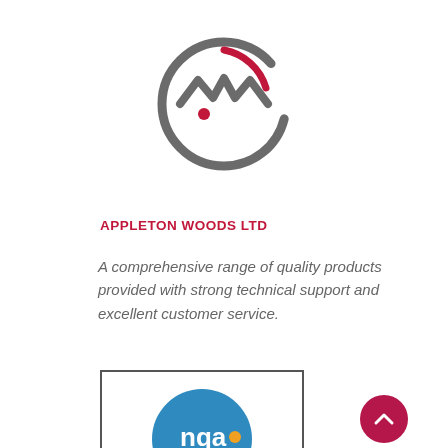[Figure (logo): Appleton Woods Ltd circular logo with stylized W shape and crimson dot inside a grey circle with gap segments]
APPLETON WOODS LTD
A comprehensive range of quality products provided with strong technical support and excellent customer service.
[Figure (logo): NQA certification badge showing blue circle with 'nqa.' text, ISO 9001 ISO 14001 certifications, and INTEGRATED MANAGEMENT banner at bottom]
[Figure (other): Dark crimson circular scroll-to-top button with upward chevron arrow]